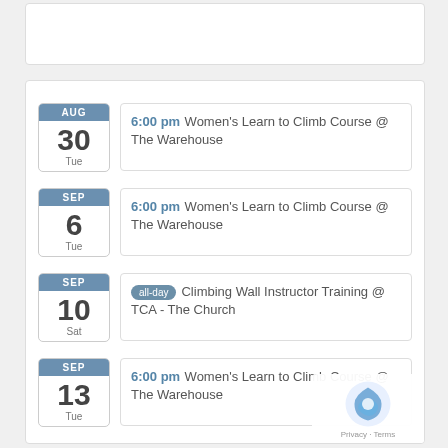AUG 30 Tue – 6:00 pm Women's Learn to Climb Course @ The Warehouse
SEP 6 Tue – 6:00 pm Women's Learn to Climb Course @ The Warehouse
SEP 10 Sat – all-day Climbing Wall Instructor Training @ TCA - The Church
SEP 13 Tue – 6:00 pm Women's Learn to Climb Course @ The Warehouse
SEP 17 – all-day Sport Lead Course – Rock Skills @ Wyndcliff Quarry